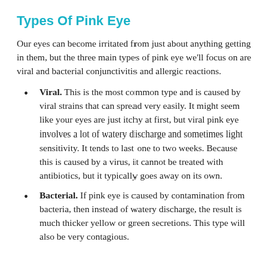Types Of Pink Eye
Our eyes can become irritated from just about anything getting in them, but the three main types of pink eye we’ll focus on are viral and bacterial conjunctivitis and allergic reactions.
Viral. This is the most common type and is caused by viral strains that can spread very easily. It might seem like your eyes are just itchy at first, but viral pink eye involves a lot of watery discharge and sometimes light sensitivity. It tends to last one to two weeks. Because this is caused by a virus, it cannot be treated with antibiotics, but it typically goes away on its own.
Bacterial. If pink eye is caused by contamination from bacteria, then instead of watery discharge, the result is much thicker yellow or green secretions. This type will also be very contagious.